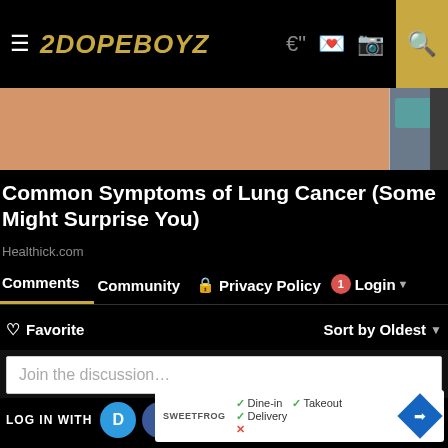2DOPEBOYZ
[Figure (screenshot): Hero image with skin tones and robot/character illustration]
Common Symptoms of Lung Cancer (Some Might Surprise You)
Healthick.com
Comments  Community  Privacy Policy  Login
Favorite  Sort by Oldest
Join the discussion...
LOG IN WITH  OR SIGN UP WITH DISQUS  Name
[Figure (photo): Ad banner: SweetFrog logo with Dine-in, Takeout, Delivery checkmarks and map icon]